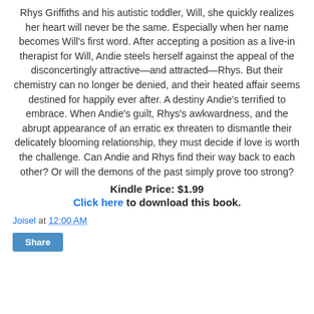Rhys Griffiths and his autistic toddler, Will, she quickly realizes her heart will never be the same. Especially when her name becomes Will's first word. After accepting a position as a live-in therapist for Will, Andie steels herself against the appeal of the disconcertingly attractive—and attracted—Rhys. But their chemistry can no longer be denied, and their heated affair seems destined for happily ever after. A destiny Andie's terrified to embrace. When Andie's guilt, Rhys's awkwardness, and the abrupt appearance of an erratic ex threaten to dismantle their delicately blooming relationship, they must decide if love is worth the challenge. Can Andie and Rhys find their way back to each other? Or will the demons of the past simply prove too strong?
Kindle Price: $1.99
Click here to download this book.
Joisel at 12:00 AM